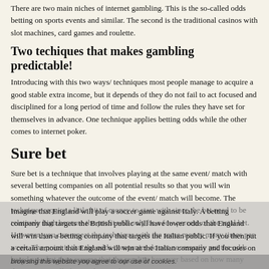There are two main niches of internet gambling. This is the so-called odds betting on sports events and similar. The second is the traditional casinos with slot machines, card games and roulette.
Two techiques that makes gambling predictable!
Introducing with this two ways/ techniques most people manage to acquire a good stable extra income, but it depends of they do not fail to act focused and disciplined for a long period of time and follow the rules they have set for themselves in advance. One technique applies betting odds while the other comes to internet poker.
Sure bet
Sure bet is a technique that involves playing at the same event/ match with several betting companies on all potential results so that you will win something whatever the outcome of the event/ match will become. The technique require a little bit of money to start with since the bet need to be relatively high because the profit will only be a few percent of the total bet. However, you can repeat the technique with the same money many times per week. The point is that the odds companies do not necessarily put the odds based on what they assume that the result is however based on how many they assume will play on that result.
Imagine that England will play a soccer game against Italy. A betting company that targets the British public will have lower odds that England will win than a betting company that targets the Italian public. If you then put a certain amount that England will win at the Italian company and focuses on Italy at the English company and tops it all